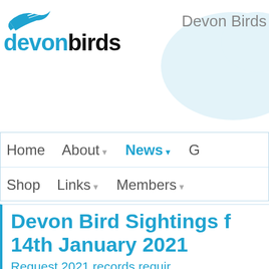[Figure (logo): Devon Birds logo with flying bird icon in blue and bold text 'devonbirds' in blue and black]
Devon Birds
Home  About▼  News▼  G
Shop  Links▼  Members▼
Devon Bird Sightings f… 14th January 2021
Request 2021 records requir… information